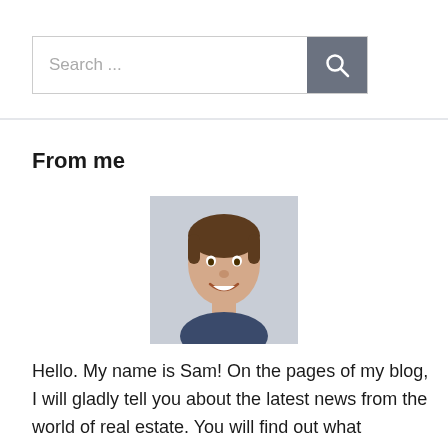[Figure (screenshot): Search bar with text input placeholder 'Search ...' and a dark gray search button with magnifying glass icon]
From me
[Figure (photo): Headshot of a young man named Sam, smiling, with short brown hair, against a light gray background]
Hello. My name is Sam! On the pages of my blog, I will gladly tell you about the latest news from the world of real estate. You will find out what interesting offers may appear on the market in the near future, what new